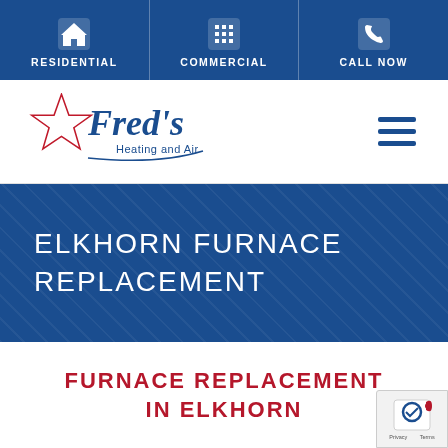RESIDENTIAL | COMMERCIAL | CALL NOW
[Figure (logo): Fred's Heating and Air logo with star graphic]
ELKHORN FURNACE REPLACEMENT
FURNACE REPLACEMENT IN ELKHORN